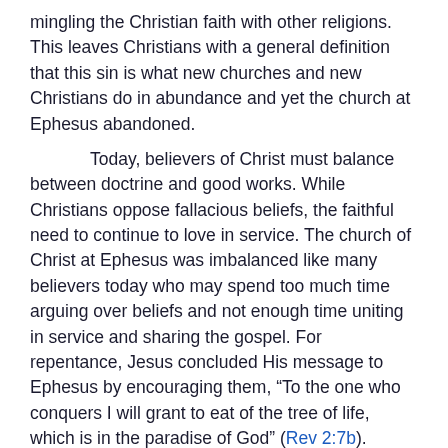mingling the Christian faith with other religions. This leaves Christians with a general definition that this sin is what new churches and new Christians do in abundance and yet the church at Ephesus abandoned.
Today, believers of Christ must balance between doctrine and good works. While Christians oppose fallacious beliefs, the faithful need to continue to love in service. The church of Christ at Ephesus was imbalanced like many believers today who may spend too much time arguing over beliefs and not enough time uniting in service and sharing the gospel. For repentance, Jesus concluded His message to Ephesus by encouraging them, “To the one who conquers I will grant to eat of the tree of life, which is in the paradise of God” (Rev 2:7b).
Posted by: AT 08:30 am  |  Permalink  |  Email
WHAT IS THE LORD'S DAY IN THE BOOK OF REVELATION?